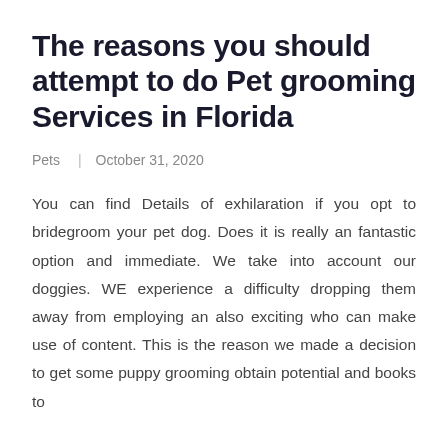The reasons you should attempt to do Pet grooming Services in Florida
Pets  |  October 31, 2020
You can find Details of exhilaration if you opt to bridegroom your pet dog. Does it is really an fantastic option and immediate. We take into account our doggies. WE experience a difficulty dropping them away from employing an also exciting who can make use of content. This is the reason we made a decision to get some puppy grooming obtain potential and books to